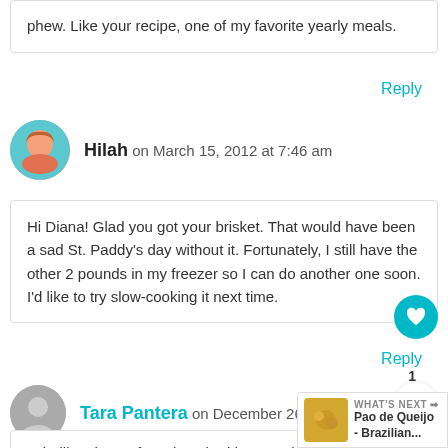phew. Like your recipe, one of my favorite yearly meals.
Reply
Hilah on March 15, 2012 at 7:46 am
Hi Diana! Glad you got your brisket. That would have been a sad St. Paddy's day without it. Fortunately, I still have the other 2 pounds in my freezer so I can do another one soon. I'd like to try slow-cooking it next time.
Reply
Tara Pantera on December 26, 2013 at 4:46 pm
Is boiling the preferred method here? What if I wanted to cook it the way you cooked your other brisket...covered in the oven? I also could kind of feel like braising...